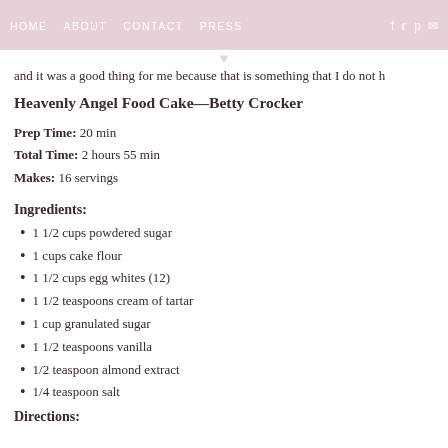HOME   ABOUT   CONTACT   PRESS
and it was a good thing for me because that is something that I do not h
Heavenly Angel Food Cake—Betty Crocker
Prep Time: 20 min
Total Time: 2 hours 55 min
Makes: 16 servings
Ingredients:
1 1/2 cups powdered sugar
1 cups cake flour
1 1/2 cups egg whites (12)
1 1/2 teaspoons cream of tartar
1 cup granulated sugar
1 1/2 teaspoons vanilla
1/2 teaspoon almond extract
1/4 teaspoon salt
Directions: